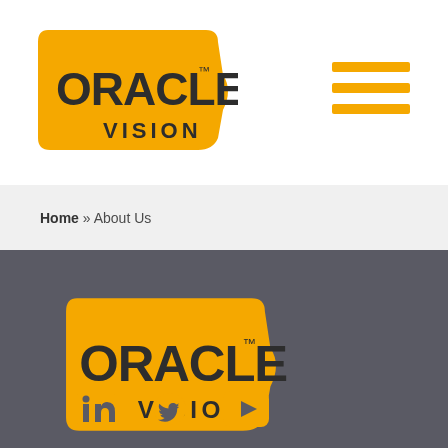[Figure (logo): Oracle Vision logo — yellow rounded speech bubble shape with ORACLE bold text and VISION below, in header]
[Figure (other): Hamburger menu icon — three horizontal yellow lines]
Home » About Us
[Figure (logo): Oracle Vision logo — yellow rounded speech bubble shape with ORACLE bold text and VISION below, in dark grey footer]
[Figure (other): Social media icons: LinkedIn, Twitter, YouTube in yellow]